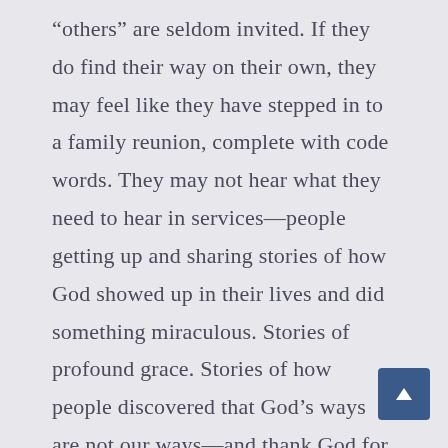“others” are seldom invited. If they do find their way on their own, they may feel like they have stepped in to a family reunion, complete with code words. They may not hear what they need to hear in services—people getting up and sharing stories of how God showed up in their lives and did something miraculous. Stories of profound grace. Stories of how people discovered that God’s ways are not our ways—and thank God for this! Stories that confirm that God never lets us down. As I told Mary, I live on three truths—God is good in everything He